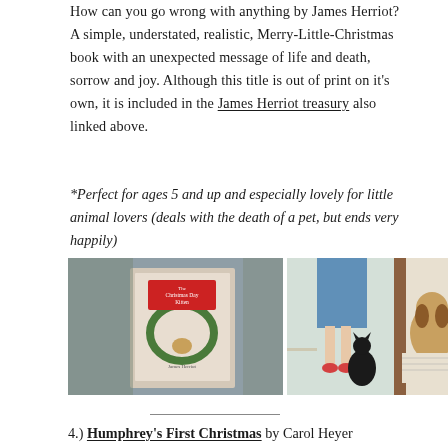How can you go wrong with anything by James Herriot? A simple, understated, realistic, Merry-Little-Christmas book with an unexpected message of life and death, sorrow and joy. Although this title is out of print on it's own, it is included in the James Herriot treasury also linked above.
*Perfect for ages 5 and up and especially lovely for little animal lovers (deals with the death of a pet, but ends very happily)
[Figure (photo): Two photos side by side: left photo shows the cover of 'The Christmas Day Kitten' by James Herriot on a woven textile background; right photo shows an open spread of the book with illustrated pages showing a black cat looking up at two basset hounds at a doorway.]
4.) Humphrey's First Christmas by Carol Heyer